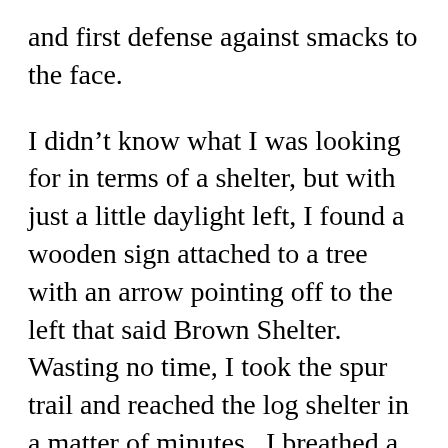and first defense against smacks to the face.
I didn't know what I was looking for in terms of a shelter, but with just a little daylight left, I found a wooden sign attached to a tree with an arrow pointing off to the left that said Brown Shelter. Wasting no time, I took the spur trail and reached the log shelter in a matter of minutes.  I breathed a sigh of relief, for I have a home for the night.
The structure measured twelve-by-twelve and was constructed like a Lincoln Log cabin with heavy, overlapping plastic strips